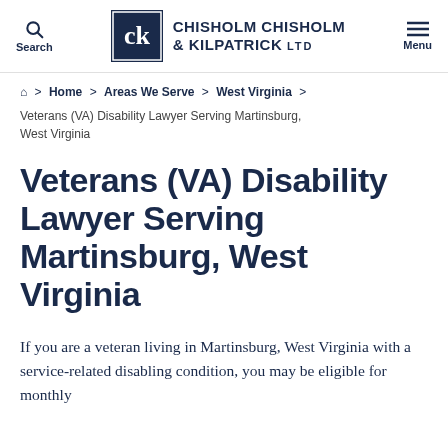Search | Chisholm Chisholm & Kilpatrick LTD | Menu
Home > Areas We Serve > West Virginia > Veterans (VA) Disability Lawyer Serving Martinsburg, West Virginia
Veterans (VA) Disability Lawyer Serving Martinsburg, West Virginia
If you are a veteran living in Martinsburg, West Virginia with a service-related disabling condition, you may be eligible for monthly